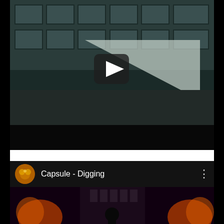[Figure (screenshot): Screenshot of a video player showing a dark, moody photo of a brutalist building facade with geometric shapes (triangles). A semi-transparent play button is centered over the image. The bottom portion is black.]
[Figure (screenshot): Screenshot of a YouTube video card showing 'Capsule - Digging' with a circular channel icon (dark orange/brown heart-like logo), a three-dot menu icon, and a dark atmospheric video still below showing a figure in a nighttime urban scene with orange/red flares.]